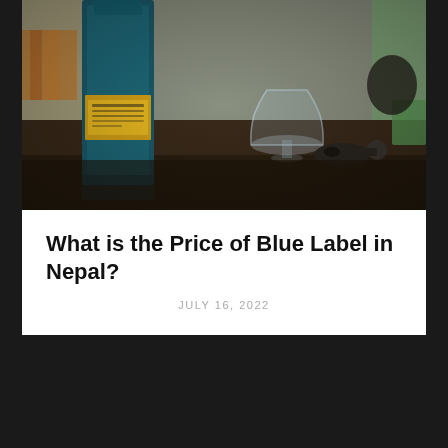[Figure (photo): A bottle of Johnnie Walker Blue Label whisky on a reflective dark table surface, with a clear glass, car keys, and other desk items in the background. Blurred background with bookshelves and a green item.]
What is the Price of Blue Label in Nepal?
JULY 16, 2022